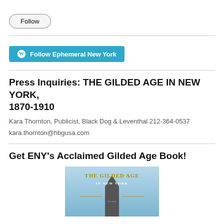Follow
Follow Ephemeral New York
Press Inquiries: THE GILDED AGE IN NEW YORK, 1870-1910
Kara Thornton, Publicist, Black Dog & Leventhal 212-364-0537
kara.thornton@hbgusa.com
Get ENY's Acclaimed Gilded Age Book!
[Figure (illustration): Book cover image for 'The Gilded Age in New York' with text on a blue/light background showing a building or monument silhouette]